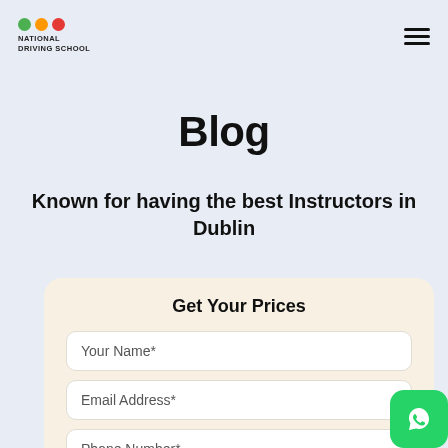NATIONAL DRIVING SCHOOL
Blog
Known for having the best Instructors in Dublin
Get Your Prices
Your Name*
Email Address*
Phone Number*